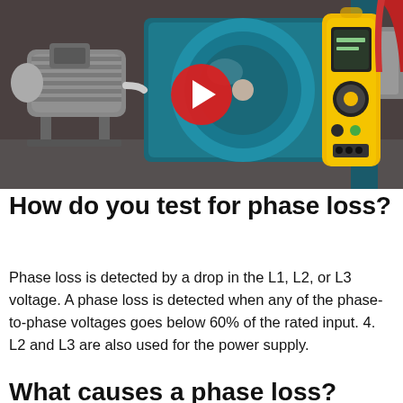[Figure (screenshot): YouTube video thumbnail showing an industrial motor and blower/fan assembly (blue centrifugal fan with electric motor) alongside a yellow handheld electrical test instrument. A red YouTube play button is centered on the thumbnail.]
How do you test for phase loss?
Phase loss is detected by a drop in the L1, L2, or L3 voltage. A phase loss is detected when any of the phase-to-phase voltages goes below 60% of the rated input. 4. L2 and L3 are also used for the power supply.
What causes a phase loss?